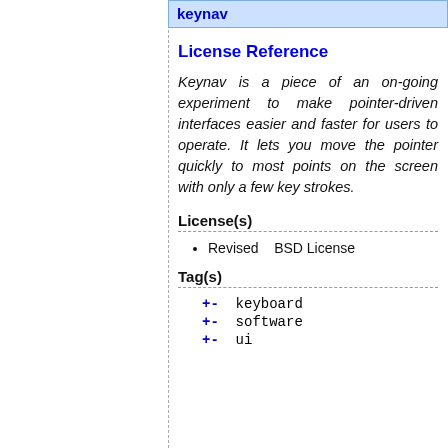keynav
License Reference
Keynav is a piece of an on-going experiment to make pointer-driven interfaces easier and faster for users to operate. It lets you move the pointer quickly to most points on the screen with only a few key strokes.
License(s)
Revised BSD License
Tag(s)
+- keyboard
+- software
+- ui